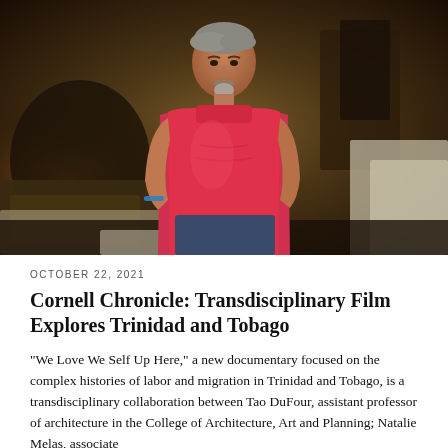[Figure (photo): An older man with grey hair and a grey goatee, wearing a red sleeveless shirt and jeans, standing inside a dimly lit room cluttered with furniture and fabric. He appears to be in a home or small workshop setting in Trinidad and Tobago.]
OCTOBER 22, 2021
Cornell Chronicle: Transdisciplinary Film Explores Trinidad and Tobago
“We Love We Self Up Here,” a new documentary focused on the complex histories of labor and migration in Trinidad and Tobago, is a transdisciplinary collaboration between Tao DuFour, assistant professor of architecture in the College of Architecture, Art and Planning; Natalie Melas, associate